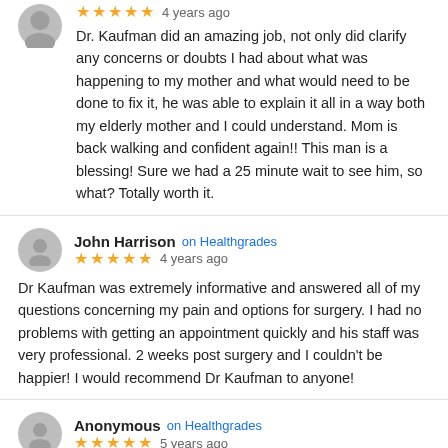★★★★★  4 years ago
Dr. Kaufman did an amazing job, not only did clarify any concerns or doubts I had about what was happening to my mother and what would need to be done to fix it, he was able to explain it all in a way both my elderly mother and I could understand. Mom is back walking and confident again!! This man is a blessing! Sure we had a 25 minute wait to see him, so what? Totally worth it.
John Harrison  on Healthgrades
★★★★★  4 years ago
Dr Kaufman was extremely informative and answered all of my questions concerning my pain and options for surgery. I had no problems with getting an appointment quickly and his staff was very professional. 2 weeks post surgery and I couldn't be happier! I would recommend Dr Kaufman to anyone!
Anonymous  on Healthgrades
★★★★★  5 years ago
Dr. Kaufman was wonderful! I chose him because he specializes in complex conditions. Explained my condition and what the plan for my care was. I feel great and would highly recommend him to